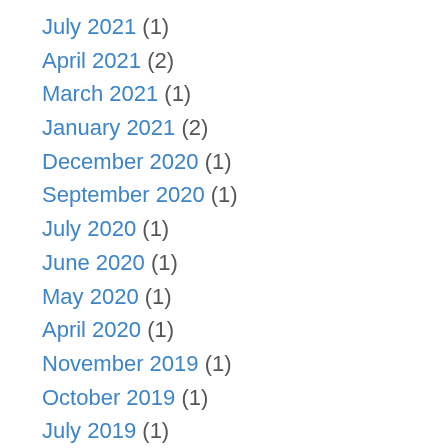July 2021 (1)
April 2021 (2)
March 2021 (1)
January 2021 (2)
December 2020 (1)
September 2020 (1)
July 2020 (1)
June 2020 (1)
May 2020 (1)
April 2020 (1)
November 2019 (1)
October 2019 (1)
July 2019 (1)
April 2019 (2)
March 2019 (2)